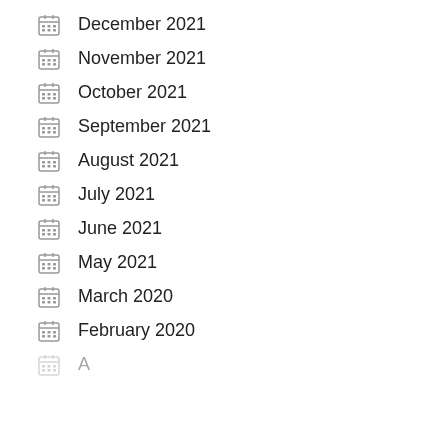December 2021
November 2021
October 2021
September 2021
August 2021
July 2021
June 2021
May 2021
March 2020
February 2020
August 2020 (partial)